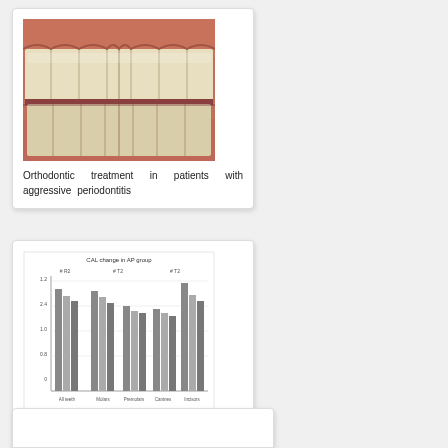[Figure (photo): Clinical photograph showing teeth/gums of a patient with aggressive periodontitis, frontal view showing upper and lower teeth with inflamed gingival tissue]
Orthodontic treatment in patients with aggressive periodontitis
[Figure (bar-chart): Bar chart showing CAL change in AP group with multiple groups (All teeth, Molars, Premolars, Canines, Incisors) at different time points]
Orthodontic treatment in patients with aggressive periodontitis